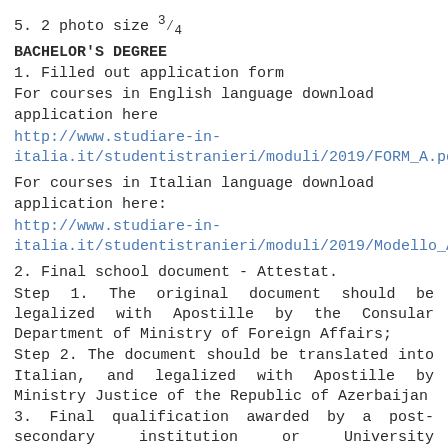5. 2 photo size ¾
BACHELOR'S DEGREE
1. Filled out application form
For courses in English language download application here
http://www.studiare-in-italia.it/studentistranieri/moduli/2019/FORM_A.pdf
For courses in Italian language download application here:
http://www.studiare-in-italia.it/studentistranieri/moduli/2019/Modello_A.pdf
2. Final school document - Attestat.
Step 1. The original document should be legalized with Apostille by the Consular Department of Ministry of Foreign Affairs;
Step 2. The document should be translated into Italian, and legalized with Apostille by Ministry Justice of the Republic of Azerbaijan
3. Final qualification awarded by a post-secondary institution or University certificate confirming at least minimum 1 year of